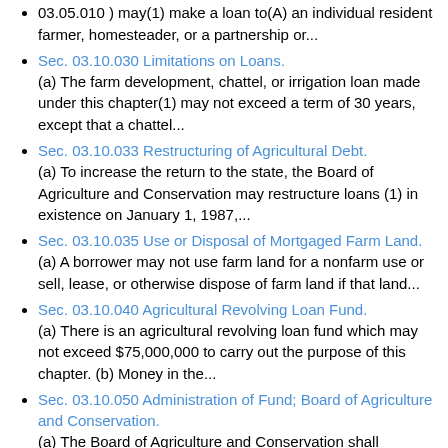03.05.010 ) may(1) make a loan to(A) an individual resident farmer, homesteader, or a partnership or...
Sec. 03.10.030 Limitations on Loans. (a) The farm development, chattel, or irrigation loan made under this chapter(1) may not exceed a term of 30 years, except that a chattel...
Sec. 03.10.033 Restructuring of Agricultural Debt. (a) To increase the return to the state, the Board of Agriculture and Conservation may restructure loans (1) in existence on January 1, 1987,...
Sec. 03.10.035 Use or Disposal of Mortgaged Farm Land. (a) A borrower may not use farm land for a nonfarm use or sell, lease, or otherwise dispose of farm land if that land...
Sec. 03.10.040 Agricultural Revolving Loan Fund. (a) There is an agricultural revolving loan fund which may not exceed $75,000,000 to carry out the purpose of this chapter. (b) Money in the...
Sec. 03.10.050 Administration of Fund; Board of Agriculture and Conservation. (a) The Board of Agriculture and Conservation shall administer the agricultural revolving loan fund. A loan may not be made without the approval of...
Sec. 03.10.052 Limitation on Board Members. [Repealed,